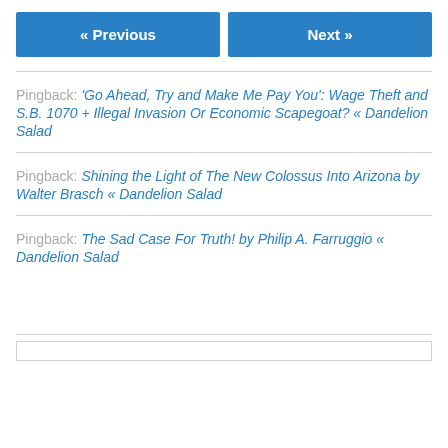« Previous | Next »
Pingback: 'Go Ahead, Try and Make Me Pay You': Wage Theft and S.B. 1070 + Illegal Invasion Or Economic Scapegoat? « Dandelion Salad
Pingback: Shining the Light of The New Colossus Into Arizona by Walter Brasch « Dandelion Salad
Pingback: The Sad Case For Truth! by Philip A. Farruggio « Dandelion Salad